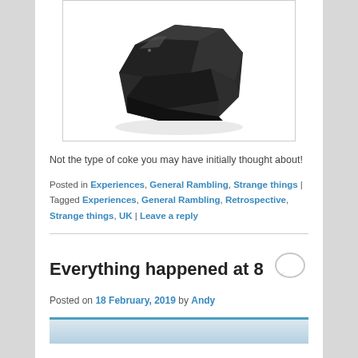[Figure (photo): A chunk of black coal/coke on a white background]
Not the type of coke you may have initially thought about!
Posted in Experiences, General Rambling, Strange things | Tagged Experiences, General Rambling, Retrospective, Strange things, UK | Leave a reply
Everything happened at 8
Posted on 18 February, 2019 by Andy